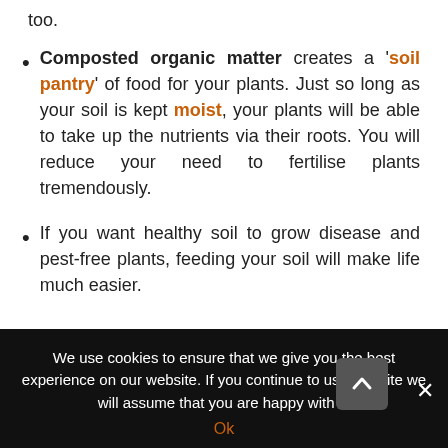too.
Composted organic matter creates a 'soil pantry' of food for your plants. Just so long as your soil is kept moist, your plants will be able to take up the nutrients via their roots. You will reduce your need to fertilise plants tremendously.
If you want healthy soil to grow disease and pest-free plants, feeding your soil will make life much easier.
We use cookies to ensure that we give you the best experience on our website. If you continue to use this site we will assume that you are happy with it. Ok